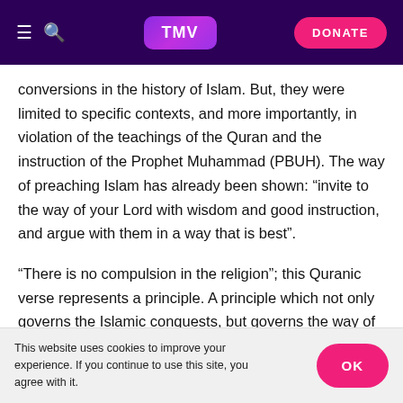TMV | DONATE
conversions in the history of Islam. But, they were limited to specific contexts, and more importantly, in violation of the teachings of the Quran and the instruction of the Prophet Muhammad (PBUH). The way of preaching Islam has already been shown: “invite to the way of your Lord with wisdom and good instruction, and argue with them in a way that is best”.
“There is no compulsion in the religion”; this Quranic verse represents a principle. A principle which not only governs the Islamic conquests, but governs the way of
This website uses cookies to improve your experience. If you continue to use this site, you agree with it. OK